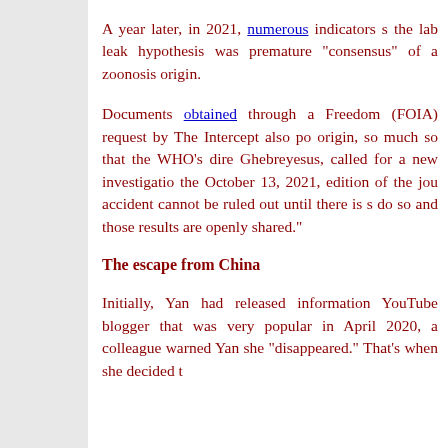A year later, in 2021, numerous indicators s... the lab leak hypothesis was premature... "consensus" of a zoonosis origin.
Documents obtained through a Freedom (FOIA) request by The Intercept also po... origin, so much so that the WHO's dire... Ghebreyesus, called for a new investigatio... the October 13, 2021, edition of the jou... accident cannot be ruled out until there is s... do so and those results are openly shared."
The escape from China
Initially, Yan had released information... YouTube blogger that was very popular in... April 2020, a colleague warned Yan she... "disappeared." That's when she decided t...